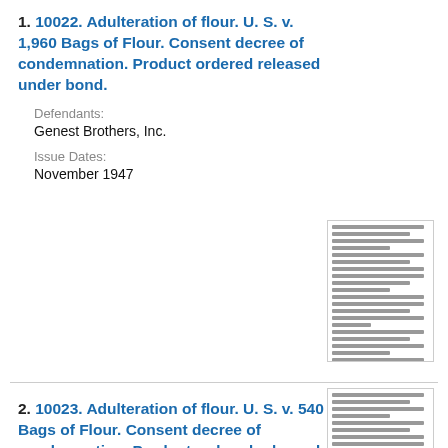1. 10022. Adulteration of flour. U. S. v. 1,960 Bags of Flour. Consent decree of condemnation. Product ordered released under bond.
Defendants:
Genest Brothers, Inc.
Issue Dates:
November 1947
[Figure (other): Thumbnail image of a legal document page with small dense text]
2. 10023. Adulteration of flour. U. S. v. 540 Bags of Flour. Consent decree of condemnation. Product ordered released under bond.
Defendants:
Morris Flour Mills
[Figure (other): Thumbnail image of a legal document page with small dense text]